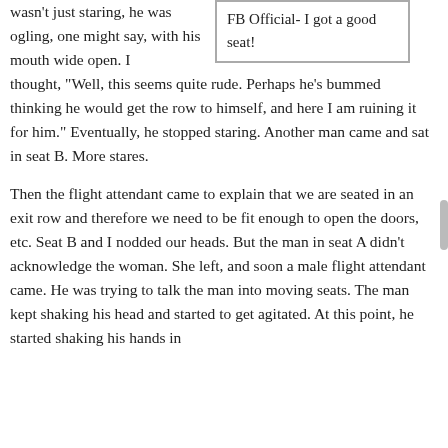wasn't just staring, he was ogling, one might say, with his mouth wide open. I thought, “Well, this seems quite rude. Perhaps he’s bummed thinking he would get the row to himself, and here I am ruining it for him.” Eventually, he stopped staring. Another man came and sat in seat B. More stares.
[Figure (screenshot): Facebook post image with caption: FB Official- I got a good seat!]
Then the flight attendant came to explain that we are seated in an exit row and therefore we need to be fit enough to open the doors, etc. Seat B and I nodded our heads. But the man in seat A didn’t acknowledge the woman. She left, and soon a male flight attendant came. He was trying to talk the man into moving seats. The man kept shaking his head and started to get agitated. At this point, he started shaking his hands in